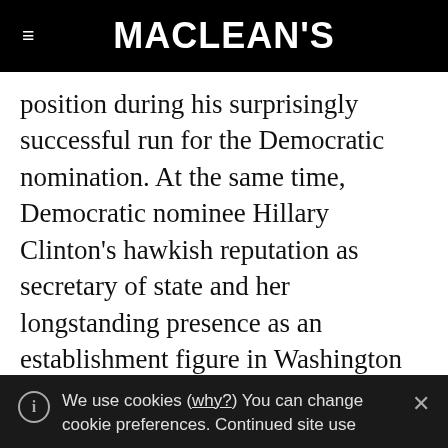MACLEAN'S
position during his surprisingly successful run for the Democratic nomination. At the same time, Democratic nominee Hillary Clinton's hawkish reputation as secretary of state and her longstanding presence as an establishment figure in Washington may offer traditional Republican voters a greater sense of security and comfort on foreign policy and the smooth operation of government. Trump and Clinton may thus be providing some historic exchange of
We use cookies (why?) You can change cookie preferences. Continued site use